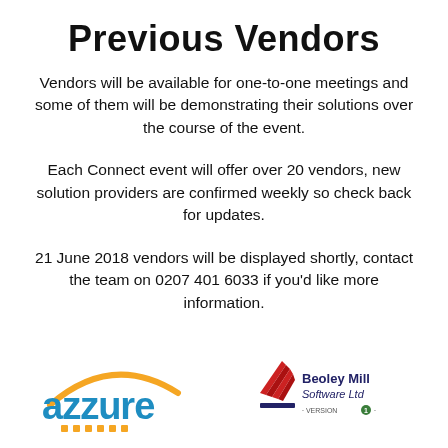Previous Vendors
Vendors will be available for one-to-one meetings and some of them will be demonstrating their solutions over the course of the event.
Each Connect event will offer over 20 vendors, new solution providers are confirmed weekly so check back for updates.
21 June 2018 vendors will be displayed shortly, contact the team on 0207 401 6033 if you’d like more information.
[Figure (logo): Azzure IT logo — blue arc with orange dots and 'azzure' text in blue]
[Figure (logo): Beoley Mill Software Ltd logo — red chevron/fan icon with company name]